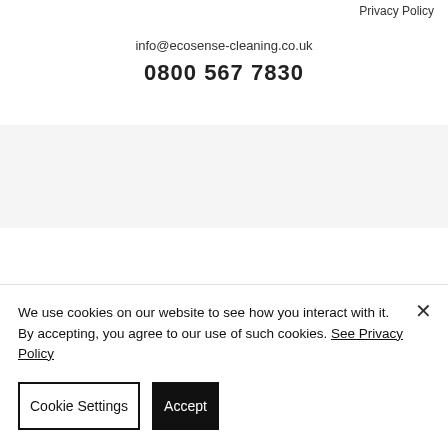Privacy Policy
info@ecosense-cleaning.co.uk
0800 567 7830
We use cookies on our website to see how you interact with it. By accepting, you agree to our use of such cookies. See Privacy Policy
Cookie Settings
Accept